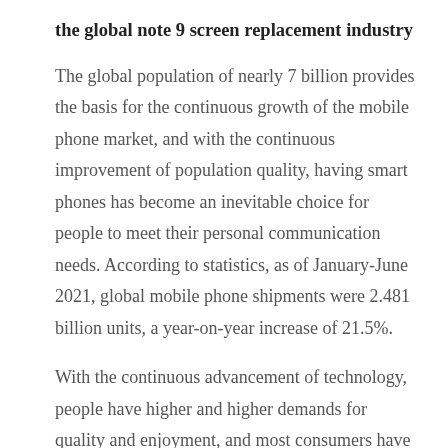the global note 9 screen replacement industry
The global population of nearly 7 billion provides the basis for the continuous growth of the mobile phone market, and with the continuous improvement of population quality, having smart phones has become an inevitable choice for people to meet their personal communication needs. According to statistics, as of January-June 2021, global mobile phone shipments were 2.481 billion units, a year-on-year increase of 21.5%.
With the continuous advancement of technology, people have higher and higher demands for quality and enjoyment, and most consumers have begun to